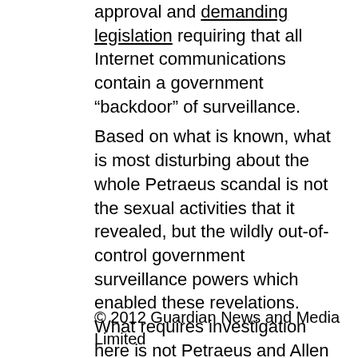approval and demanding legislation requiring that all Internet communications contain a government “backdoor” of surveillance. Based on what is known, what is most disturbing about the whole Petraeus scandal is not the sexual activities that it revealed, but the wildly out-of-control government surveillance powers which enabled these revelations. What requires investigation here is not Petraeus and Allen and their various sexual partners but the FBI and the whole sprawling, unaccountable surveillance system that has been built.
© 2012 Guardian News and Media Limited